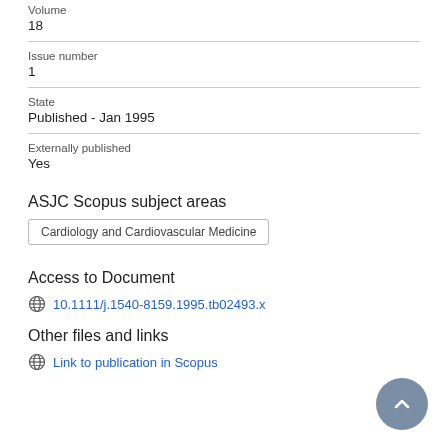Volume
18
Issue number
1
State
Published - Jan 1995
Externally published
Yes
ASJC Scopus subject areas
Cardiology and Cardiovascular Medicine
Access to Document
10.1111/j.1540-8159.1995.tb02493.x
Other files and links
Link to publication in Scopus